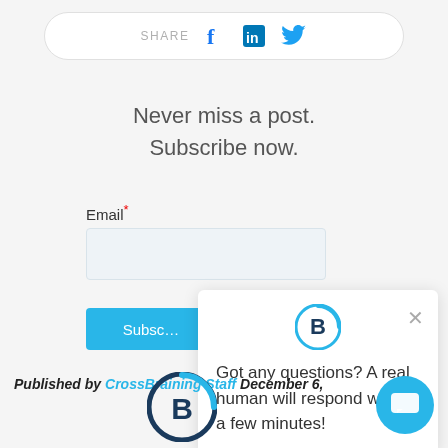[Figure (other): Share bar with Facebook, LinkedIn, and Twitter icons]
Never miss a post.
Subscribe now.
Email*
[Figure (other): Email input text field]
[Figure (other): Subscribe button (blue)]
[Figure (other): Chat popup with CrossBraining logo, close button, and text: Got any questions? A real human will respond within a few minutes!]
Published by CrossBraining Staff December 6,
[Figure (logo): CrossBraining logo circle at bottom center]
[Figure (other): Blue chat button circle at bottom right]